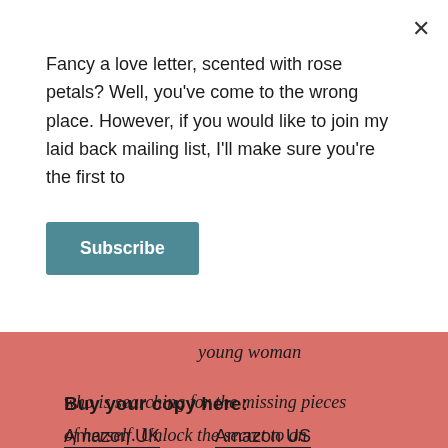Fancy a love letter, scented with rose petals? Well, you've come to the wrong place. However, if you would like to join my laid back mailing list, I'll make sure you're the first to
Subscribe
young woman
who is searching for the missing pieces of herself.  Unlock the secret to an ancient love story, destined to find its happy ending in the present.
Buy your copy here:
Amazon UK
Amazon US